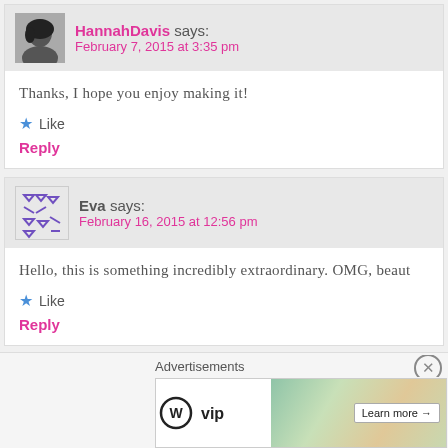HannahDavis says: February 7, 2015 at 3:35 pm
Thanks, I hope you enjoy making it!
Like
Reply
Eva says: February 16, 2015 at 12:56 pm
Hello, this is something incredibly extraordinary. OMG, beaut
Like
Reply
Advertisements
[Figure (logo): WordPress VIP logo with decorative background and Learn more button]